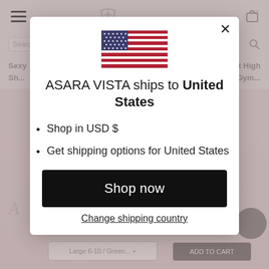[Figure (screenshot): E-commerce website background showing hamburger menu, logo, search bar, navigation text, and product area, partially obscured by a modal overlay.]
ASARA VISTA ships to United States
Shop in USD $
Get shipping options for United States
Shop now
Change shipping country